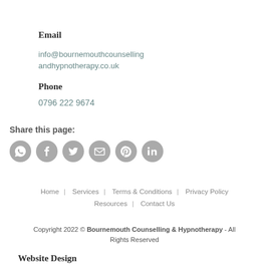Email
info@bournemouthcounsellingandhypnotherapy.co.uk
Phone
0796 222 9674
Share this page:
[Figure (infographic): Row of six social share icon circles: WhatsApp, Facebook, Twitter, Email, Pinterest, LinkedIn — all in grey]
Home | Services | Terms & Conditions | Privacy Policy | Resources | Contact Us
Copyright 2022 © Bournemouth Counselling & Hypnotherapy - All Rights Reserved
Website Design